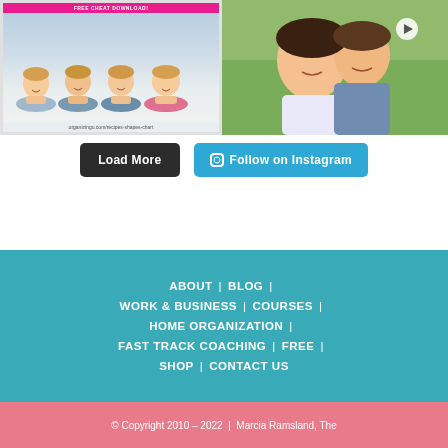[Figure (photo): Four smiling children lying down with chins on hands, with a pink banner and URL at bottom]
[Figure (photo): Mother and child smiling outdoors with a play button overlay, video thumbnail]
Load More
Follow on Instagram
ABOUT | BLOG | WORK & BUSINESS | COURSES | HOME ORGANIZATION | FAST TRACK COACHING | FREE | SHOP | CONTACT US
© Copyright 2010 – 2022 | Marcia Ramsland, The